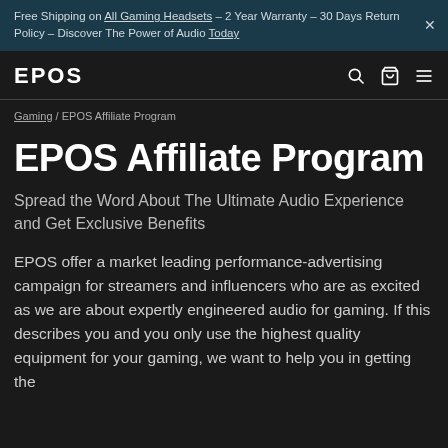Free Shipping on All Gaming Headsets – 2 Year Warranty – 30 Days Return Policy – Discover The Power of Audio Today
[Figure (logo): EPOS logo wordmark in white]
Gaming / EPOS Affiliate Program
EPOS Affiliate Program
Spread the Word About The Ultimate Audio Experience and Get Exclusive Benefits
EPOS offer a market leading performance-advertising campaign for streamers and influencers who are as excited as we are about expertly engineered audio for gaming. If this describes you and you only use the highest quality equipment for your gaming, we want to help you in getting the